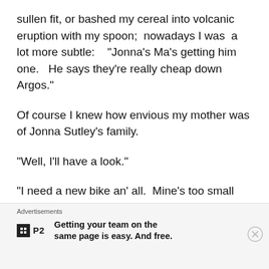sullen fit, or bashed my cereal into volcanic eruption with my spoon;  nowadays I was  a lot more subtle:    "Jonna's Ma's getting him one.   He says they're really cheap down Argos."
Of course I knew how envious my mother was of Jonna Sutley's family.
"Well, I'll have a look."
"I need a new bike an' all.  Mine's too small now."
That was the beginning of a process as
Advertisements
Getting your team on the same page is easy. And free.